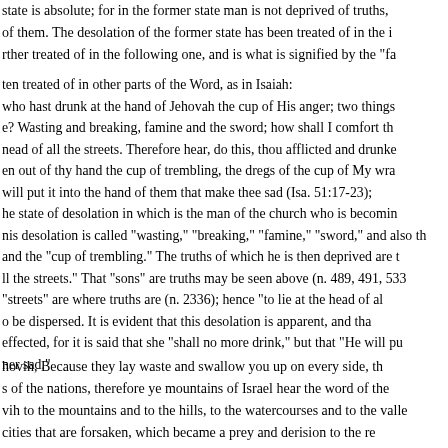state is absolute; for in the former state man is not deprived of truths, of them. The desolation of the former state has been treated of in the i rther treated of in the following one, and is what is signified by the "fa
ten treated of in other parts of the Word, as in Isaiah: who hast drunk at the hand of Jehovah the cup of His anger; two thing e? Wasting and breaking, famine and the sword; how shall I comfort th nead of all the streets. Therefore hear, do this, thou afflicted and drunke en out of thy hand the cup of trembling, the dregs of the cup of My wra will put it into the hand of them that make thee sad (Isa. 51:17-23); he state of desolation in which is the man of the church who is becomin nis desolation is called "wasting," "breaking," "famine," "sword," and also th and the "cup of trembling." The truths of which he is then deprived are t ll the streets." That "sons" are truths may be seen above (n. 489, 491, 533 "streets" are where truths are (n. 2336); hence "to lie at the head of al o be dispersed. It is evident that this desolation is apparent, and tha effected, for it is said that she "shall no more drink," but that "He will pu ner sad."
hovih, Because they lay waste and swallow you up on every side, th s of the nations, therefore ye mountains of Israel hear the word of the vih to the mountains and to the hills, to the watercourses and to the valle cities that are forsaken, which became a prey and derision to the re